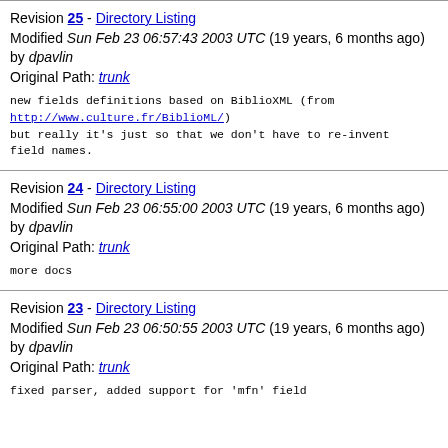Revision 25 - Directory Listing
Modified Sun Feb 23 06:57:43 2003 UTC (19 years, 6 months ago) by dpavlin
Original Path: trunk
new fields definitions based on BiblioXML (from http://www.culture.fr/BiblioML/)
but really it's just so that we don't have to re-invent field names.
Revision 24 - Directory Listing
Modified Sun Feb 23 06:55:00 2003 UTC (19 years, 6 months ago) by dpavlin
Original Path: trunk
more docs
Revision 23 - Directory Listing
Modified Sun Feb 23 06:50:55 2003 UTC (19 years, 6 months ago) by dpavlin
Original Path: trunk
fixed parser, added support for 'mfn' field